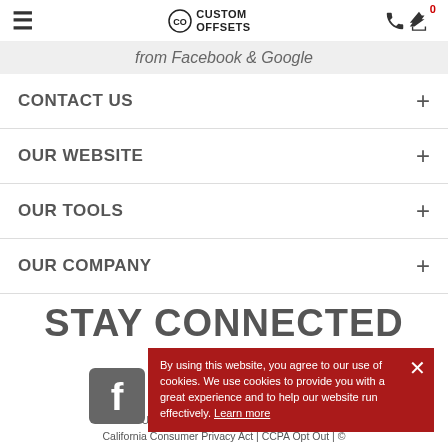Custom Offsets header with hamburger menu, logo, phone and cart icons
from Facebook & Google
CONTACT US
OUR WEBSITE
OUR TOOLS
OUR COMPANY
STAY CONNECTED
[Figure (illustration): Social media icons: Facebook, Instagram, and others (partially visible)]
By using this website, you agree to our use of cookies. We use cookies to provide you with a great experience and to help our website run effectively. Learn more
Terms of Use | Terms and Conditions | Privacy Policy | California Consumer Privacy Act | CCPA Opt Out | © 2022 Custom Offsets